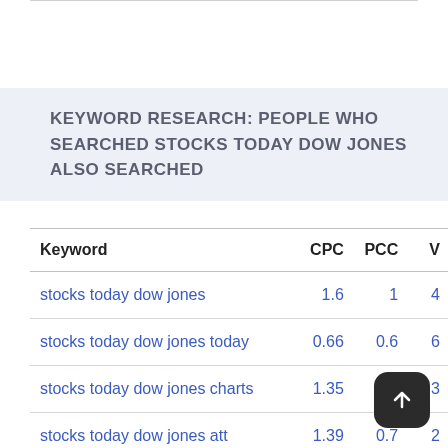KEYWORD RESEARCH: PEOPLE WHO SEARCHED STOCKS TODAY DOW JONES ALSO SEARCHED
| Keyword | CPC | PCC | V |
| --- | --- | --- | --- |
| stocks today dow jones | 1.6 | 1 | 4 |
| stocks today dow jones today | 0.66 | 0.6 | 6 |
| stocks today dow jones charts | 1.35 | 1 | 3 |
| stocks today dow jones att | 1.39 | 0.7 | 2 |
| stocks today dow jones wec | 1.59 | 0. |  |
| stocks today dow jones yahoo | 0.86 | 0.2 | 6 |